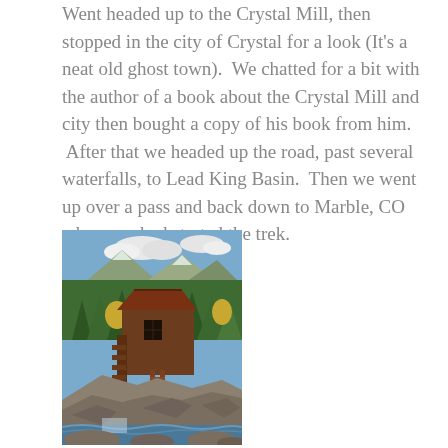Went headed up to the Crystal Mill, then stopped in the city of Crystal for a look (It's a neat old ghost town). We chatted for a bit with the author of a book about the Crystal Mill and city then bought a copy of his book from him. After that we headed up the road, past several waterfalls, to Lead King Basin. Then we went up over a pass and back down to Marble, CO where we had started the trek.
[Figure (photo): Photograph of Crystal Mill, a historic wooden mill structure perched on rocky cliffs above a rushing stream, surrounded by green trees and mountains in the background.]